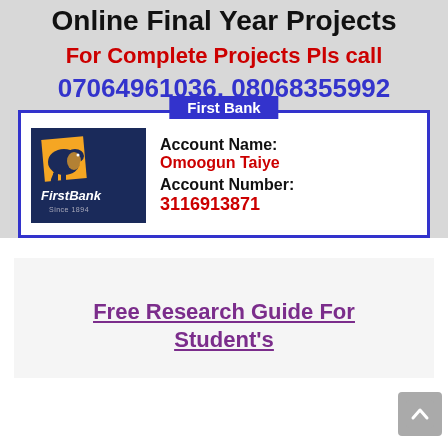Online Final Year Projects
For Complete Projects Pls call
07064961036, 08068355992
First Bank
[Figure (logo): FirstBank Nigeria logo — dark blue background with orange elephant and yellow square graphic, text reads 'FirstBank Since 1894']
Account Name: Omoogun Taiye
Account Number: 3116913871
Free Research Guide For Student's